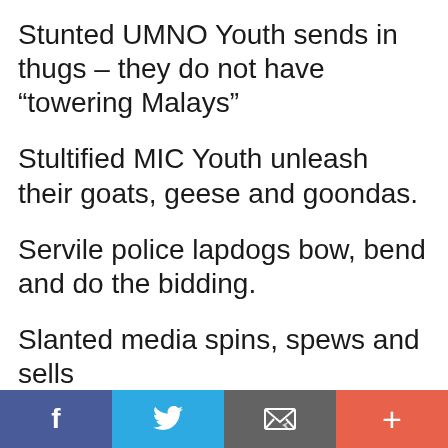Stunted UMNO Youth sends in thugs – they do not have “towering Malays”
Stultified MIC Youth unleash their goats, geese and goondas.
Servile police lapdogs bow, bend and do the bidding.
Slanted media spins, spews and sells
f  [Twitter bird]  [envelope]  +